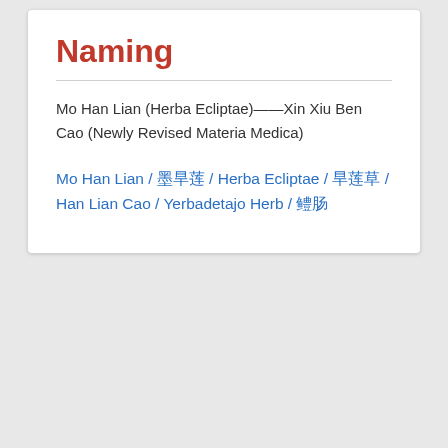Naming
Mo Han Lian (Herba Ecliptae)——Xin Xiu Ben Cao (Newly Revised Materia Medica)
Mo Han Lian / 墨旱莲 / Herba Ecliptae / 旱莲草 / Han Lian Cao / Yerbadetajo Herb / 鳢肠